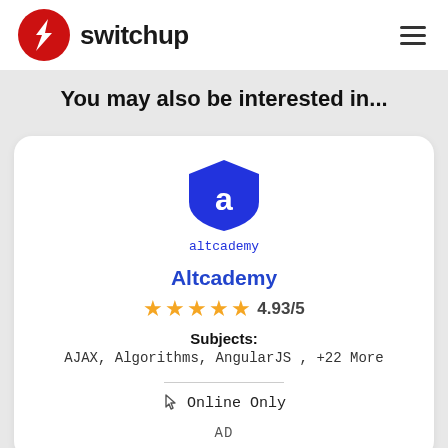[Figure (logo): Switchup logo: red circle with white lightning bolt icon, next to bold 'switchup' text and hamburger menu icon]
You may also be interested in...
[Figure (logo): Altcademy logo: blue shield shape with lowercase white 'a', with 'altcademy' text below in blue]
Altcademy
★★★★★ 4.93/5
Subjects:
AJAX, Algorithms, AngularJS , +22 More
Online Only
AD